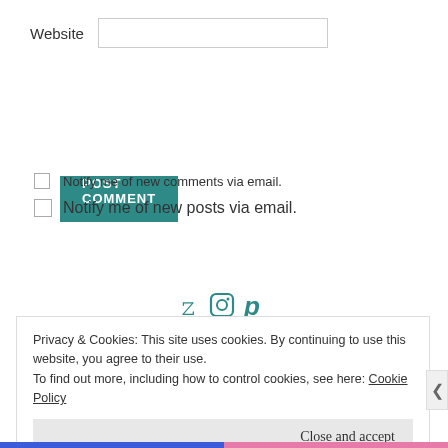Website
POST COMMENT
Notify me of new comments via email.
Notify me of new posts via email.
[Figure (illustration): Three social media icons: Twitter bird, Instagram camera, Pinterest P, all in teal color]
Privacy & Cookies: This site uses cookies. By continuing to use this website, you agree to their use.
To find out more, including how to control cookies, see here: Cookie Policy
Close and accept